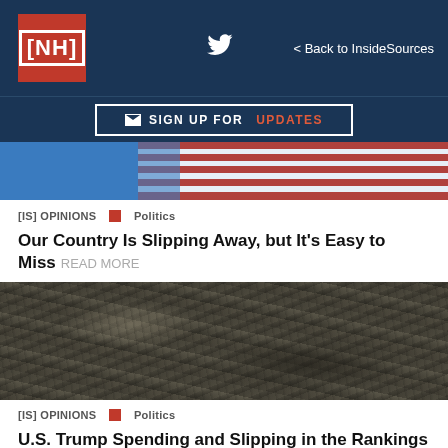[NH] | Twitter | < Back to InsideSources
✉ SIGN UP FOR UPDATES
[Figure (photo): American flag photo with red and white stripes against blue sky background]
[IS] OPINIONS  ■  Politics
Our Country Is Slipping Away, but It's Easy to Miss READ MORE
[Figure (photo): Close-up photo of dark rocky terrain with textured stone surface]
[IS] OPINIONS  ■  Politics
U.S. Trump Spending and Slipping in the Rankings